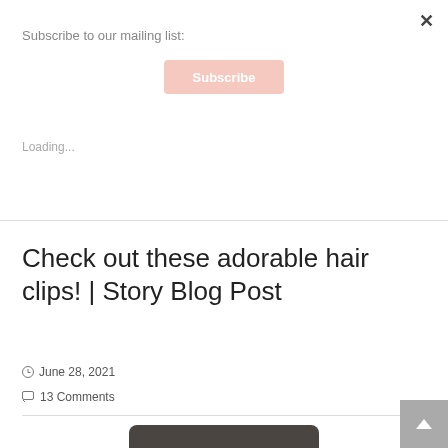Subscribe to our mailing list:
Subscribe
Loading...
Check out these adorable hair clips! | Story Blog Post
June 28, 2021
13 Comments
[Figure (screenshot): Dark rounded rectangle image preview with expand/fullscreen icon]